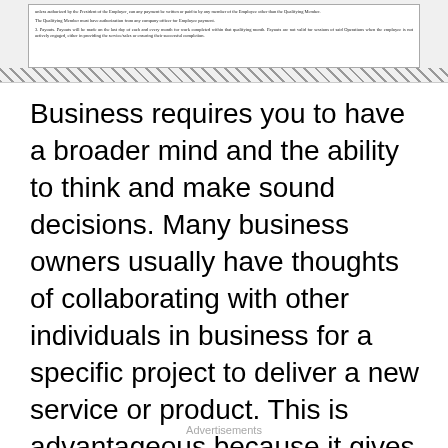[Figure (screenshot): Cropped screenshot of a legal document showing text about Qualifying Member authorization, Employee payments, and Payouts. The bottom portion has a diagonal hatch pattern.]
Business requires you to have a broader mind and the ability to think and make sound decisions. Many business owners usually have thoughts of collaborating with other individuals in business for a specific project to deliver a new service or product. This is advantageous because it gives you an excellent opportunity to benefit from each company and expertise on how to deliver a new product in the industry.
Advertisements